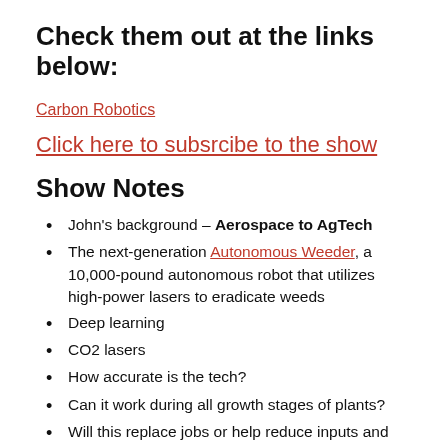Check them out at the links below:
Carbon Robotics
Click here to subsrcibe to the show
Show Notes
John's background – Aerospace to AgTech
The next-generation Autonomous Weeder, a 10,000-pound autonomous robot that utilizes high-power lasers to eradicate weeds
Deep learning
CO2 lasers
How accurate is the tech?
Can it work during all growth stages of plants?
Will this replace jobs or help reduce inputs and create more opportunities for workers?